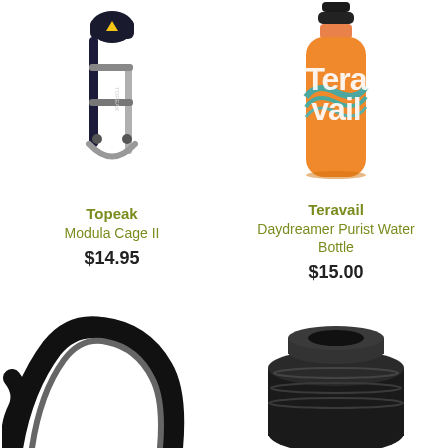[Figure (photo): Topeak Modula Cage II - black and silver adjustable bicycle water bottle cage]
[Figure (photo): Teravail Daydreamer Purist Water Bottle - orange sports water bottle with retro Teravail logo]
Topeak
Modula Cage II
$14.95
Teravail
Daydreamer Purist Water Bottle
$15.00
[Figure (photo): Supacaz black bicycle water bottle cage, partial view cropped at bottom]
[Figure (photo): Black metal water bottle or thermos cap/top, partial view cropped at bottom]